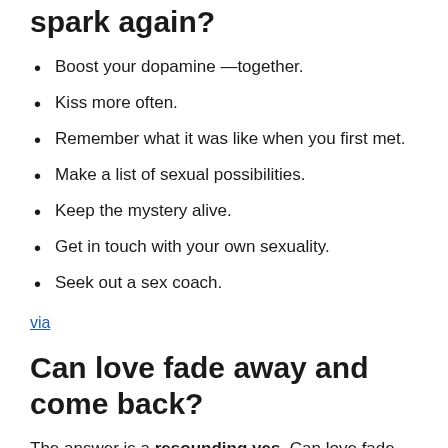spark again?
Boost your dopamine —together.
Kiss more often.
Remember what it was like when you first met.
Make a list of sexual possibilities.
Keep the mystery alive.
Get in touch with your own sexuality.
Seek out a sex coach.
via
Can love fade away and come back?
The answer is a resounding yes. Can love fade away